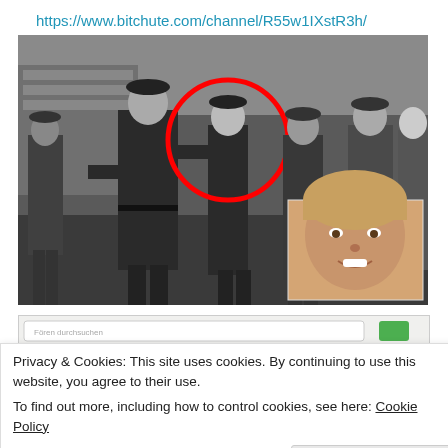https://www.bitchute.com/channel/R55w1IXstR3h/
[Figure (photo): Black and white historical photograph of people in military uniforms marching, with a red circle highlighting one figure. A color inset photo appears in the bottom right corner showing a woman's face.]
[Figure (screenshot): Partial screenshot of a website, obscured by cookie banner overlay.]
Privacy & Cookies: This site uses cookies. By continuing to use this website, you agree to their use.
To find out more, including how to control cookies, see here: Cookie Policy
Close and accept
[Figure (screenshot): Partial screenshot of a website with orange header bar, partially visible at bottom of page.]